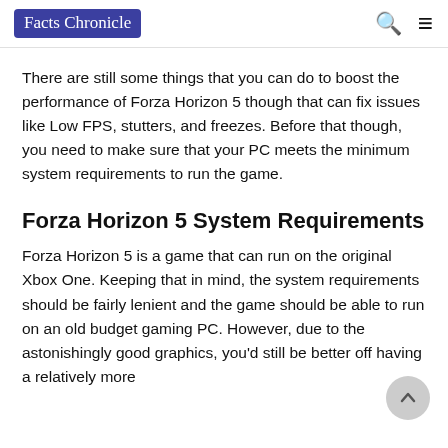Facts Chronicle
There are still some things that you can do to boost the performance of Forza Horizon 5 though that can fix issues like Low FPS, stutters, and freezes. Before that though, you need to make sure that your PC meets the minimum system requirements to run the game.
Forza Horizon 5 System Requirements
Forza Horizon 5 is a game that can run on the original Xbox One. Keeping that in mind, the system requirements should be fairly lenient and the game should be able to run on an old budget gaming PC. However, due to the astonishingly good graphics, you'd still be better off having a relatively more